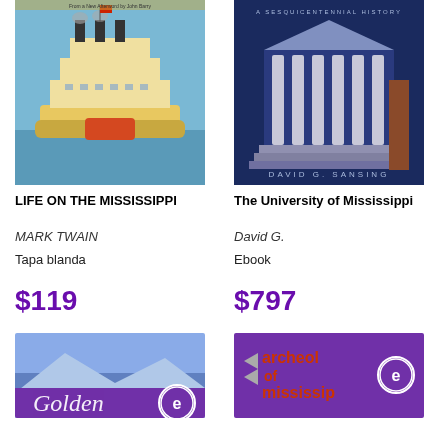[Figure (illustration): Book cover of Life on the Mississippi showing a steamboat]
[Figure (illustration): Book cover of The University of Mississippi by David G. Sansing showing a building with columns]
LIFE ON THE MISSISSIPPI
The University of Mississippi
MARK TWAIN
David G.
Tapa blanda
Ebook
$119
$797
[Figure (illustration): Book cover with Golden text and ebook badge]
[Figure (illustration): Book cover with archeology of mississippi text and ebook badge]